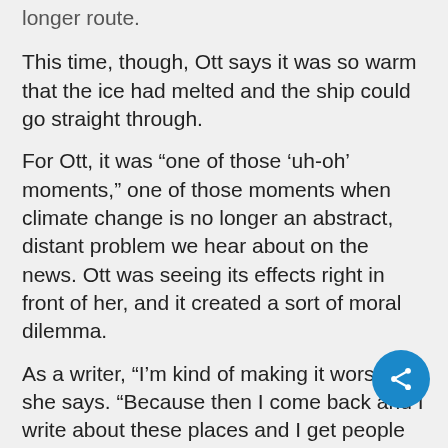longer route
This time, though, Ott says it was so warm that the ice had melted and the ship could go straight through.
For Ott, it was “one of those ‘uh-oh’ moments,” one of those moments when climate change is no longer an abstract, distant problem we hear about on the news. Ott was seeing its effects right in front of her, and it created a sort of moral dilemma.
As a writer, “I’m kind of making it worse,” she says. “Because then I come back and I write about these places and I get people excited about going there, and I’m perpetuating the problem even more.”